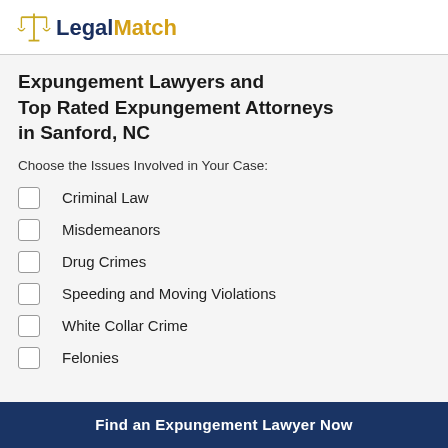LegalMatch
Expungement Lawyers and Top Rated Expungement Attorneys in Sanford, NC
Choose the Issues Involved in Your Case:
Criminal Law
Misdemeanors
Drug Crimes
Speeding and Moving Violations
White Collar Crime
Felonies
Find an Expungement Lawyer Now